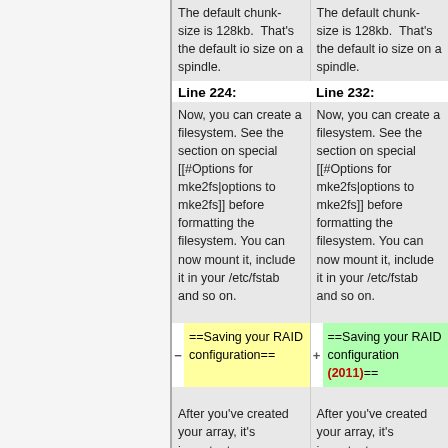| Line 224: | Line 232: |
| --- | --- |
| The default chunk-size is 128kb.  That's the default io size on a spindle. | The default chunk-size is 128kb.  That's the default io size on a spindle. |
| Now, you can create a filesystem. See the section on special [[#Options for mke2fs|options to mke2fs]] before formatting the filesystem. You can now mount it, include it in your /etc/fstab and so on. | Now, you can create a filesystem. See the section on special [[#Options for mke2fs|options to mke2fs]] before formatting the filesystem. You can now mount it, include it in your /etc/fstab and so on. |
| - ==Saving your RAID configuration== | + ==Saving your RAID configuration (2011)== |
| After you've created your array, it's important | After you've created your array, it's important |